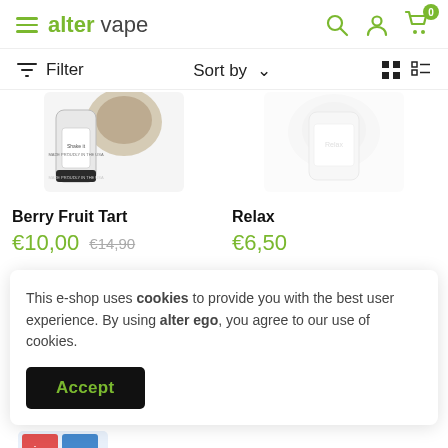alter vape
Filter   Sort by   (grid/list view icons)
[Figure (photo): Product image for Berry Fruit Tart (partially visible, vape product bottle/package on white background)]
[Figure (photo): Product image for Relax (partially visible, faded vape product on white background)]
Berry Fruit Tart
€10,00  €14,90
Relax
€6,50
This e-shop uses cookies to provide you with the best user experience. By using alter ego, you agree to our use of cookies.
Accept
[Figure (photo): Partially visible product image at bottom of page (colorful vape product packaging, partially cropped)]